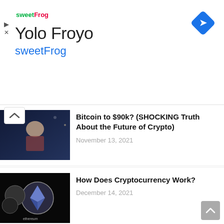[Figure (screenshot): sweetFrog advertisement banner with logo and navigation icon]
Bitcoin to $90k? (SHOCKING Truth About the Future of Crypto)
November 13, 2021
How Does Cryptocurrency Work?
December 14, 2021
WORST Crypto YouTuber Predictions (You Are Listening to the WRONG People)
December 26, 2021
Bitcoin Live / Ethereum News Alerts
August 31, 2021